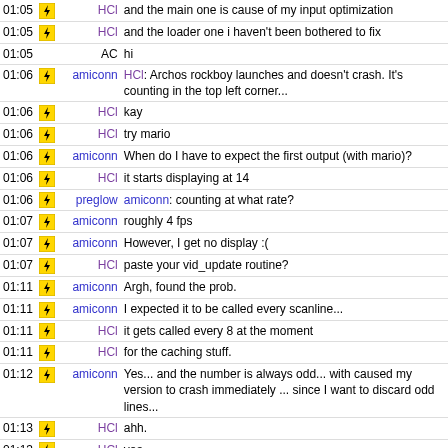| Time | Icon | Nick | Message |
| --- | --- | --- | --- |
| 01:05 | bolt | HCl | and the main one is cause of my input optimization |
| 01:05 | bolt | HCl | and the loader one i haven't been bothered to fix |
| 01:05 |  | AC | hi |
| 01:06 | bolt | amiconn | HCl: Archos rockboy launches and doesn't crash. It's counting in the top left corner... |
| 01:06 | bolt | HCl | kay |
| 01:06 | bolt | HCl | try mario |
| 01:06 | bolt | amiconn | When do I have to expect the first output (with mario)? |
| 01:06 | bolt | HCl | it starts displaying at 14 |
| 01:06 | bolt | preglow | amiconn: counting at what rate? |
| 01:07 | bolt | amiconn | roughly 4 fps |
| 01:07 | bolt | amiconn | However, I get no display :( |
| 01:07 | bolt | HCl | paste your vid_update routine? |
| 01:11 | bolt | amiconn | Argh, found the prob. |
| 01:11 | bolt | amiconn | I expected it to be called every scanline... |
| 01:11 | bolt | HCl | it gets called every 8 at the moment |
| 01:11 | bolt | HCl | for the caching stuff. |
| 01:12 | bolt | amiconn | Yes... and the number is always odd... with caused my version to crash immediately ... since I want to discard odd lines... |
| 01:13 | bolt | HCl | ahh. |
| 01:13 | bolt | HCl | yea |
| 01:13 | bolt | HCl | umm... also look at the scan structure thing, i modified buf and definition of BUF in order to make caching possible |
| 01:21 | bolt | Quelsaruk | good night to all, don't work too hard |